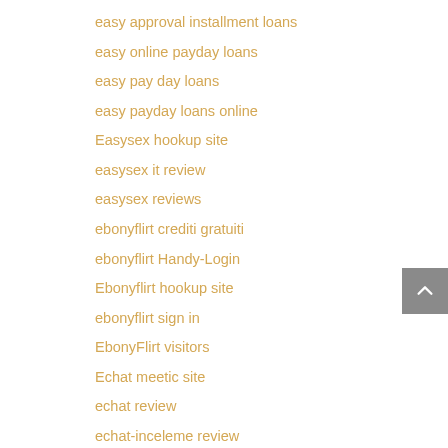easy approval installment loans
easy online payday loans
easy pay day loans
easy payday loans online
Easysex hookup site
easysex it review
easysex reviews
ebonyflirt crediti gratuiti
ebonyflirt Handy-Login
Ebonyflirt hookup site
ebonyflirt sign in
EbonyFlirt visitors
Echat meetic site
echat review
echat-inceleme review